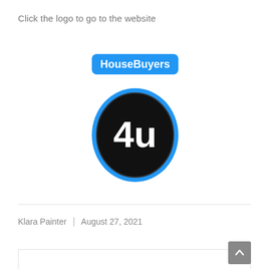Click the logo to go to the website
[Figure (logo): HouseBuyers4u logo: blue rounded rectangle with 'HouseBuyers' text above a black oval containing '4u' in white bold text, outlined in blue]
Klara Painter  |  August 27, 2021
Klara Painter works within the NAPR ensuring the